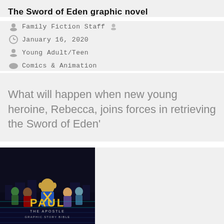The Sword of Eden graphic novel
Family Fiction Staff
January 16, 2020
Young Adult/Teen
Comics & Animation
What will happen when new young heroine, Rebecca, joins forces in retrieving the Sword of Eden'
[Figure (illustration): Book cover for 'Paul the Apostle: Graphic Story Bible' showing a sci-fi/animated style illustration of Paul the Apostle as a superhero-like character surrounded by other characters, with the title 'PAUL THE APOSTLE GRAPHIC STORY BIBLE' in stylized yellow/gold lettering on a dark background.]
Paul the Apostle: Graphic Story Bible
Ben Avery